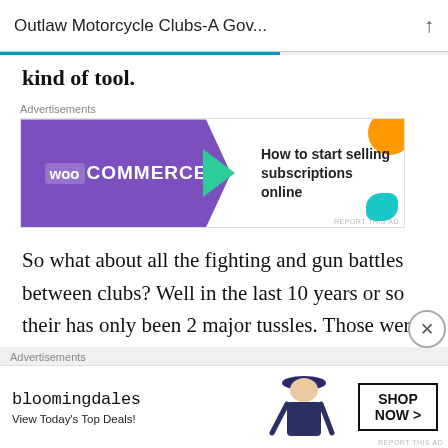Outlaw Motorcycle Clubs-A Gov...
kind of tool.
[Figure (screenshot): WooCommerce advertisement banner: 'How to start selling subscriptions online']
So what about all the fighting and gun battles between clubs? Well in the last 10 years or so their has only been 2 major tussles. Those were directly related to a Pig club Iron Order M/C. This is a club that was started by an ex secret service agent. The
[Figure (screenshot): Bloomingdale's advertisement banner: 'View Today's Top Deals!' with SHOP NOW button]